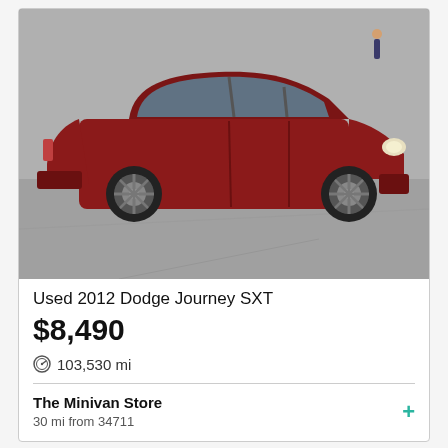[Figure (photo): Red 2012 Dodge Journey SXT SUV parked on a gray paved lot, front three-quarter view]
Used 2012 Dodge Journey SXT
$8,490
103,530 mi
The Minivan Store
30 mi from 34711
[Figure (photo): Partial view of a white SUV parked in front of a white building with large garage door; 'Great Deal' badge overlay visible]